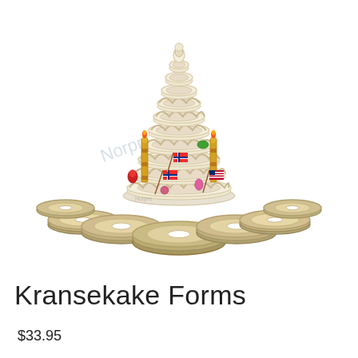[Figure (photo): Product photo of Kransekake Forms: a tall conical Norwegian Kransekake tower cake decorated with Norwegian and American flags, candles, and candies, displayed above a set of 7 circular graduated ring-shaped baking forms in gold/silver color arranged in a fan/arc pattern.]
Kransekake Forms
$33.95